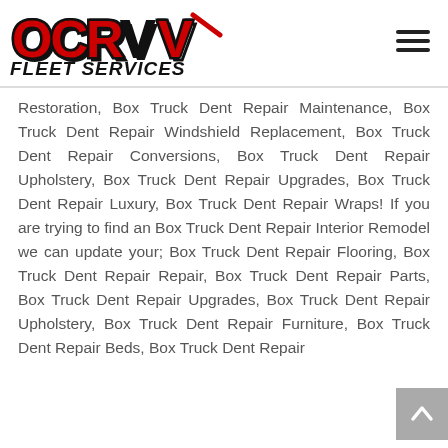OCRV Fleet Services
Restoration, Box Truck Dent Repair Maintenance, Box Truck Dent Repair Windshield Replacement, Box Truck Dent Repair Conversions, Box Truck Dent Repair Upholstery, Box Truck Dent Repair Upgrades, Box Truck Dent Repair Luxury, Box Truck Dent Repair Wraps! If you are trying to find an Box Truck Dent Repair Interior Remodel we can update your; Box Truck Dent Repair Flooring, Box Truck Dent Repair Repair, Box Truck Dent Repair Parts, Box Truck Dent Repair Upgrades, Box Truck Dent Repair Upholstery, Box Truck Dent Repair Furniture, Box Truck Dent Repair Beds, Box Truck Dent Repair